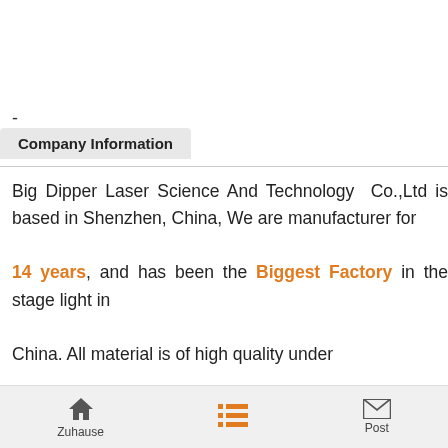-
Company Information
Big Dipper Laser Science And Technology Co.,Ltd is based in Shenzhen, China, We are manufacturer for 14 years, and has been the Biggest Factory in the stage light in China. All material is of high quality under inspection and control,and all stage light go through 2 times of test before shipment. High Quality Assurance is our task and also what we are doing now.
Zuhause   [list]   Post